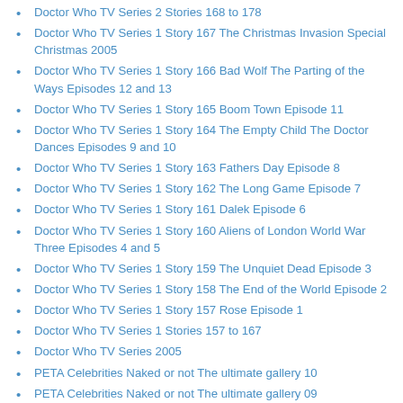Doctor Who TV Series 2 Stories 168 to 178
Doctor Who TV Series 1 Story 167 The Christmas Invasion Special Christmas 2005
Doctor Who TV Series 1 Story 166 Bad Wolf The Parting of the Ways Episodes 12 and 13
Doctor Who TV Series 1 Story 165 Boom Town Episode 11
Doctor Who TV Series 1 Story 164 The Empty Child The Doctor Dances Episodes 9 and 10
Doctor Who TV Series 1 Story 163 Fathers Day Episode 8
Doctor Who TV Series 1 Story 162 The Long Game Episode 7
Doctor Who TV Series 1 Story 161 Dalek Episode 6
Doctor Who TV Series 1 Story 160 Aliens of London World War Three Episodes 4 and 5
Doctor Who TV Series 1 Story 159 The Unquiet Dead Episode 3
Doctor Who TV Series 1 Story 158 The End of the World Episode 2
Doctor Who TV Series 1 Story 157 Rose Episode 1
Doctor Who TV Series 1 Stories 157 to 167
Doctor Who TV Series 2005
PETA Celebrities Naked or not The ultimate gallery 10
PETA Celebrities Naked or not The ultimate gallery 09